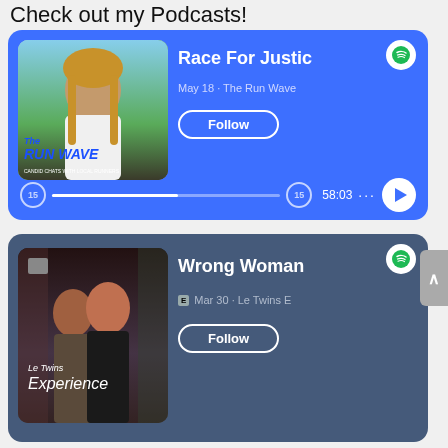Check out my Podcasts!
[Figure (screenshot): Spotify podcast card for 'Race For Justice', The Run Wave podcast, May 18. Blue background with podcast cover image. Follow button and audio controls showing 58:03.]
[Figure (screenshot): Spotify podcast card for 'Wrong Woman', Le Twins Experience podcast, Mar 30. Dark blue-grey background with podcast cover image showing two women. Follow button visible.]